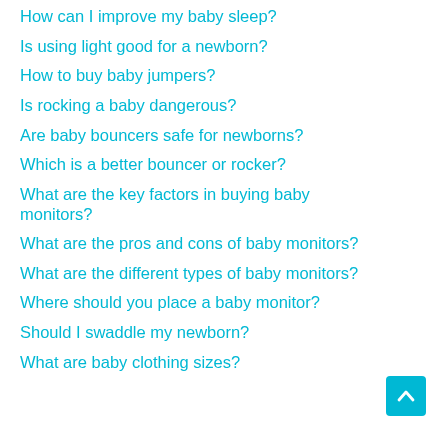How can I improve my baby sleep?
Is using light good for a newborn?
How to buy baby jumpers?
Is rocking a baby dangerous?
Are baby bouncers safe for newborns?
Which is a better bouncer or rocker?
What are the key factors in buying baby monitors?
What are the pros and cons of baby monitors?
What are the different types of baby monitors?
Where should you place a baby monitor?
Should I swaddle my newborn?
What are baby clothing sizes?